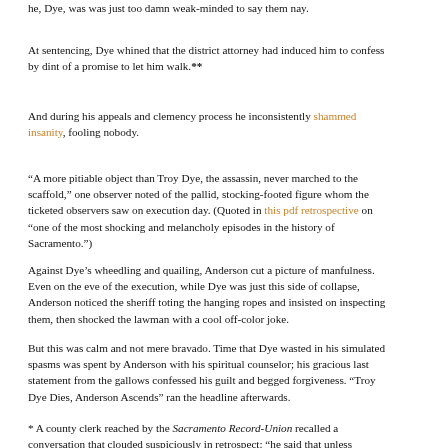he, Dye, was was just too damn weak-minded to say them nay.
At sentencing, Dye whined that the district attorney had induced him to confess by dint of a promise to let him walk.**
And during his appeals and clemency process he inconsistently shammed insanity, fooling nobody.
“A more pitiable object than Troy Dye, the assassin, never marched to the scaffold,” one observer noted of the pallid, stocking-footed figure whom the ticketed observers saw on execution day. (Quoted in this pdf retrospective on “one of the most shocking and melancholy episodes in the history of Sacramento.”)
Against Dye’s wheedling and quailing, Anderson cut a picture of manfulness. Even on the eve of the execution, while Dye was just this side of collapse, Anderson noticed the sheriff toting the hanging ropes and insisted on inspecting them, then shocked the lawman with a cool off-color joke.
But this was calm and not mere bravado. Time that Dye wasted in his simulated spasms was spent by Anderson with his spiritual counselor; his gracious last statement from the gallows confessed his guilt and begged forgiveness. “Troy Dye Dies, Anderson Ascends” ran the headline afterwards.
* A county clerk reached by the Sacramento Record-Union recalled a conversation that clouded suspiciously in retrospect: “he said that unless something turned up, that he would not make enough out of it to pay his expenses … I said to him: ‘You cannot tell when some one will die and leave a good estate.’ … he said he did not know of any one who was likely to die that worth any amount except Mr. Tullis, down the river. He said he was an old man